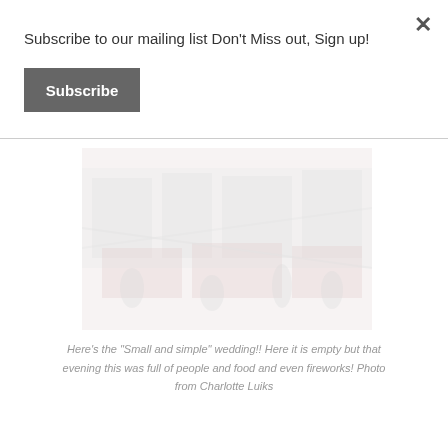Subscribe to our mailing list Don't Miss out, Sign up!
Subscribe
[Figure (photo): A faded/washed-out photograph of an outdoor wedding venue or event space, showing tables, decorations, and architectural elements. The image has a very light, washed-out appearance.]
Here's the “Small and simple” wedding!! Here it is empty but that evening this was full of people and food and even fireworks! Photo from Charlotte Luiks